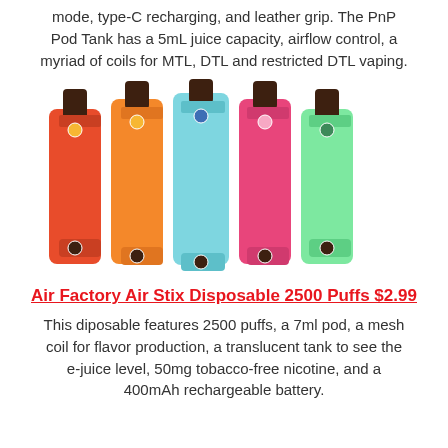mode, type-C recharging, and leather grip.  The PnP Pod Tank has a 5mL juice capacity, airflow control, a myriad of coils for MTL, DTL and restricted DTL vaping.
[Figure (photo): Five colorful disposable vape devices (Air Factory Air Stix) standing upright in different colors: red/orange, orange, light blue, pink, and green/mint.]
Air Factory Air Stix Disposable 2500 Puffs $2.99
This diposable features 2500 puffs, a 7ml pod, a mesh coil for flavor production, a translucent tank to see the e-juice level, 50mg tobacco-free nicotine, and a 400mAh rechargeable battery.